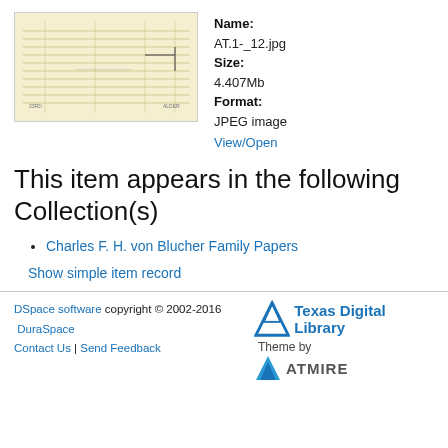[Figure (photo): Thumbnail of a historical document/blueprint scan (AT.1-_12.jpg), showing faint horizontal lines and handwritten or drawn marks on aged paper background.]
Name:
AT.1-_12.jpg
Size:
4.407Mb
Format:
JPEG image
View/Open
This item appears in the following Collection(s)
Charles F. H. von Blucher Family Papers
Show simple item record
DSpace software copyright © 2002-2016  DuraSpace  Contact Us | Send Feedback  Theme by  Texas Digital Library  ATMIRE